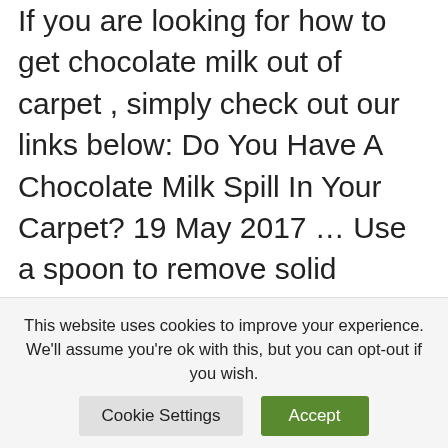If you are looking for how to get chocolate milk out of carpet , simply check out our links below: Do You Have A Chocolate Milk Spill In Your Carpet? 19 May 2017 … Use a spoon to remove solid materials · For large stains work from outside of stain to center. · Mix a … Read more
can i give my kitten milk
If you are looking for can i give my kitten milk , simply check out our
This website uses cookies to improve your experience. We'll assume you're ok with this, but you can opt-out if you wish.